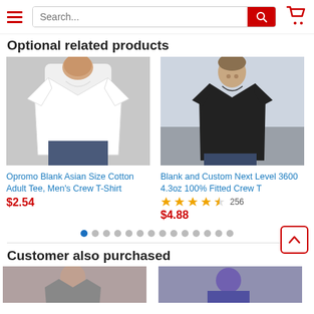Search...
Optional related products
[Figure (photo): Man wearing white crew neck t-shirt (Opromo Blank Asian Size Cotton Adult Tee)]
Opromo Blank Asian Size Cotton Adult Tee, Men's Crew T-Shirt
$2.54
[Figure (photo): Man wearing black crew neck t-shirt (Blank and Custom Next Level 3600)]
Blank and Custom Next Level 3600 4.3oz 100% Fitted Crew T
4.5 stars, 256 reviews
$4.88
Customer also purchased